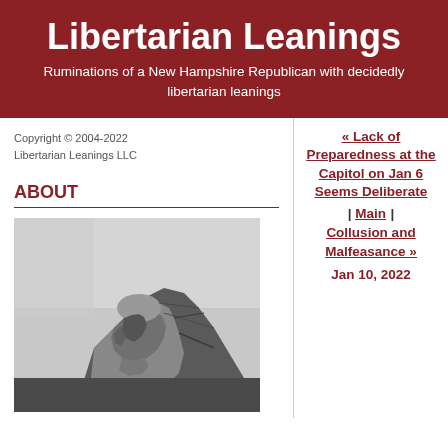Libertarian Leanings
Ruminations of a New Hampshire Republican with decidedly libertarian leanings
Copyright © 2004-2022
Libertarian Leanings LLC
ABOUT
[Figure (photo): Black and white photograph of a stone rock face profile (the Old Man of the Mountain or similar rock formation), viewed from the side showing a human-like face carved by nature in stone, with sky in background.]
« Lack of Preparedness at the Capitol on Jan 6 Seems Deliberate | Main | Collusion and Malfeasance »
Jan 10, 2022